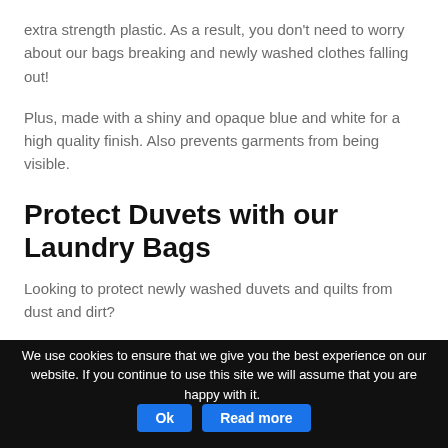extra strength plastic. As a result, you don't need to worry about our bags breaking and newly washed clothes falling out!
Plus, made with a shiny and opaque blue and white for a high quality finish. Also prevents garments from being visible.
Protect Duvets with our Laundry Bags
Looking to protect newly washed duvets and quilts from dust and dirt?
We use cookies to ensure that we give you the best experience on our website. If you continue to use this site we will assume that you are happy with it. Ok Read more